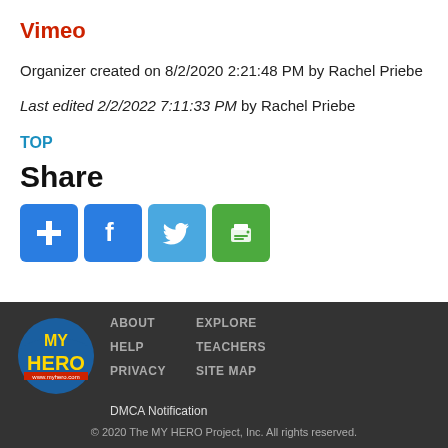Vimeo
Organizer created on 8/2/2020 2:21:48 PM by Rachel Priebe
Last edited 2/2/2022 7:11:33 PM by Rachel Priebe
TOP
Share
[Figure (other): Social share buttons: plus/add, Facebook, Twitter, Print]
ABOUT | HELP | PRIVACY | DMCA Notification | EXPLORE | TEACHERS | SITE MAP | © 2020 The MY HERO Project, Inc. All rights reserved.